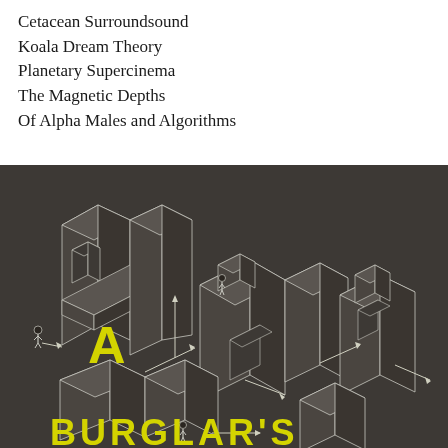Cetacean Surroundsound
Koala Dream Theory
Planetary Supercinema
The Magnetic Depths
Of Alpha Males and Algorithms
[Figure (illustration): Dark brown/charcoal background with an isometric architectural illustration of building blocks rendered in white outlines. Bold yellow letters spell out 'A' and 'BURGLAR'S' across the building forms. Small human figures are placed at various points on the structures, connected by white arrow lines indicating a path or route.]